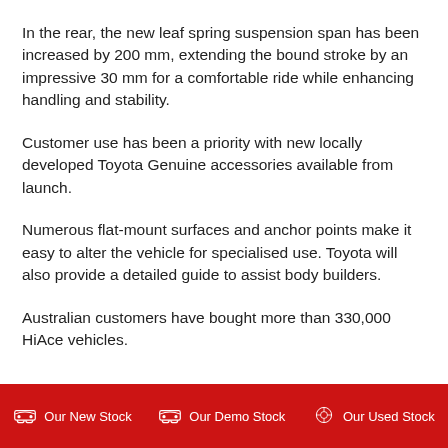In the rear, the new leaf spring suspension span has been increased by 200 mm, extending the bound stroke by an impressive 30 mm for a comfortable ride while enhancing handling and stability.
Customer use has been a priority with new locally developed Toyota Genuine accessories available from launch.
Numerous flat-mount surfaces and anchor points make it easy to alter the vehicle for specialised use. Toyota will also provide a detailed guide to assist body builders.
Australian customers have bought more than 330,000 HiAce vehicles.
Our New Stock   Our Demo Stock   Our Used Stock